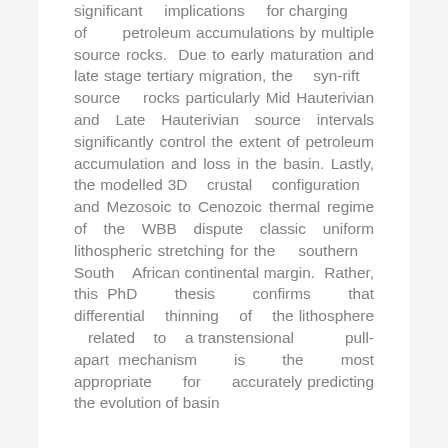significant implications for charging of petroleum accumulations by multiple source rocks. Due to early maturation and late stage tertiary migration, the syn-rift source rocks particularly Mid Hauterivian and Late Hauterivian source intervals significantly control the extent of petroleum accumulation and loss in the basin. Lastly, the modelled 3D crustal configuration and Mezosoic to Cenozoic thermal regime of the WBB dispute classic uniform lithospheric stretching for the southern South African continental margin. Rather, this PhD thesis confirms that differential thinning of the lithosphere related to a transtensional pull-apart mechanism is the most appropriate for accurately predicting the evolution of basin